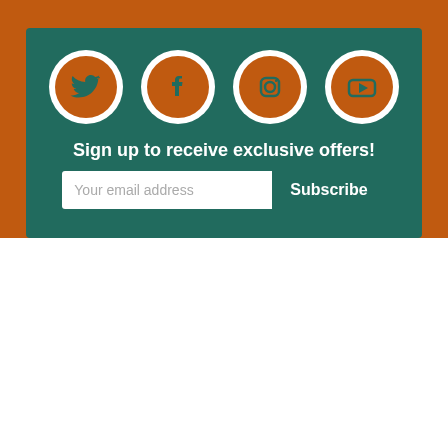[Figure (infographic): Social media signup banner with teal background and orange border. Four social media icons (Twitter, Facebook, Instagram, YouTube) shown as orange circles with white borders. Below icons: text 'Sign up to receive exclusive offers!' with an email input field and Subscribe button.]
Sign up to receive exclusive offers!
Your email address
Subscribe